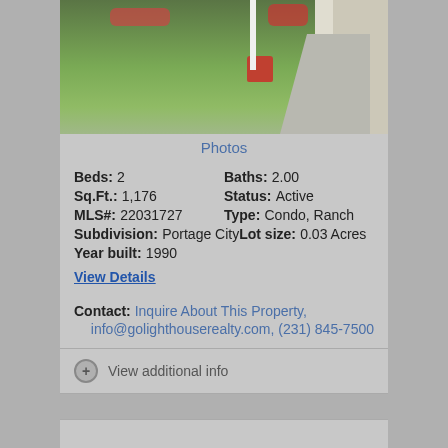[Figure (photo): Exterior photo of a residential property showing green lawn, red planter, concrete walkway, and partial view of house siding]
Photos
Beds: 2   Baths: 2.00
Sq.Ft.: 1,176   Status: Active
MLS#: 22031727   Type: Condo, Ranch
Subdivision: Portage City   Lot size: 0.03 Acres
Year built: 1990
View Details
Contact: Inquire About This Property, info@golighthouserealty.com, (231) 845-7500
Request Info   Save Property
View additional info